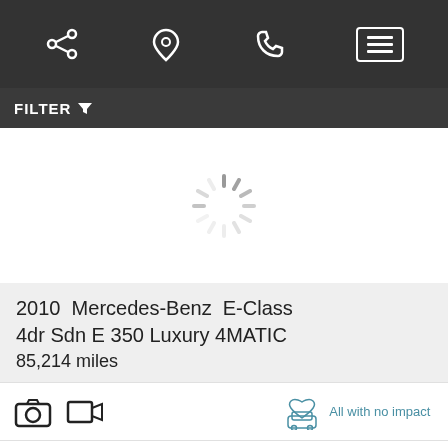[Figure (screenshot): Mobile app navigation bar with share, location pin, phone, and hamburger menu icons on dark background]
FILTER
[Figure (other): Loading spinner indicator (circular spinner animation)]
2010  Mercedes-Benz  E-Class 4dr Sdn E 350 Luxury 4MATIC
85,214 miles
[Figure (other): Camera icon and video camera icon; heart-with-car icon; text: All with no impact]
Power Suggested Retail Price:
$24